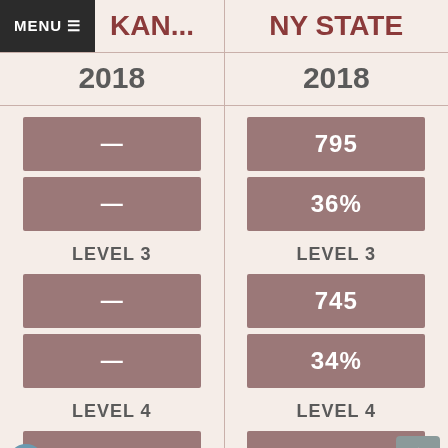MENU KAN...
NY STATE
2018
2018
—
795
—
36%
LEVEL 3
LEVEL 3
—
745
—
34%
LEVEL 4
LEVEL 4
—
302